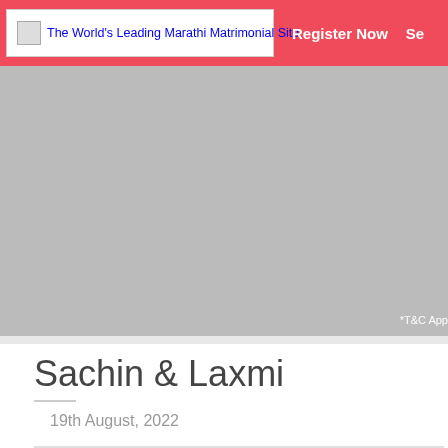The World's Leading Marathi Matrimonial Site | Register Now | Se
[Figure (screenshot): Gray banner/advertisement area with *T&C App text in bottom right corner]
Sachin & Laxmi
19th August, 2022
[Figure (photo): Light gray photo placeholder area at bottom of page]